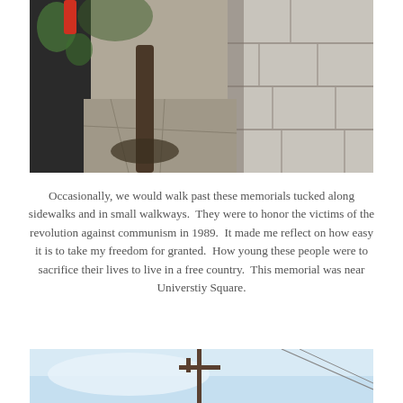[Figure (photo): Outdoor photo showing a tree trunk base on a concrete sidewalk adjacent to a large stone block wall. There is graffiti on a dark surface to the left and a red object partially visible at the top left.]
Occasionally, we would walk past these memorials tucked along sidewalks and in small walkways.  They were to honor the victims of the revolution against communism in 1989.  It made me reflect on how easy it is to take my freedom for granted.  How young these people were to sacrifice their lives to live in a free country.  This memorial was near Universtiy Square.
[Figure (photo): Partial view of another outdoor photo showing a light blue sky background with a cross-shaped metal pole/street sign structure in the center, and diagonal lines (possibly wires) on the right side.]